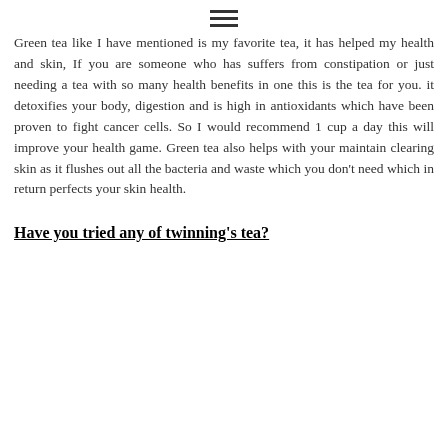≡
Green tea like I have mentioned is my favorite tea, it has helped my health and skin, If you are someone who has suffers from constipation or just needing a tea with so many health benefits in one this is the tea for you. it detoxifies your body, digestion and is high in antioxidants which have been proven to fight cancer cells. So I would recommend 1 cup a day this will improve your health game. Green tea also helps with your maintain clearing skin as it flushes out all the bacteria and waste which you don't need which in return perfects your skin health.
Have you tried any of twinning's tea?